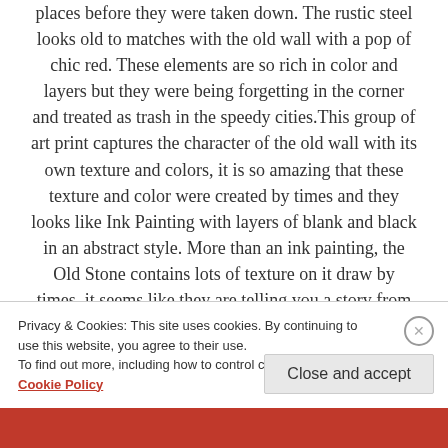places before they were taken down. The rustic steel looks old to matches with the old wall with a pop of chic red. These elements are so rich in color and layers but they were being forgetting in the corner and treated as trash in the speedy cities. This group of art print captures the character of the old wall with its own texture and colors, it is so amazing that these texture and color were created by times and they looks like Ink Painting with layers of blank and black in an abstract style. More than an ink painting, the Old Stone contains lots of texture on it draw by times, it seems like they are telling you a story from
Privacy & Cookies: This site uses cookies. By continuing to use this website, you agree to their use. To find out more, including how to control cookies, see here: Cookie Policy
Close and accept